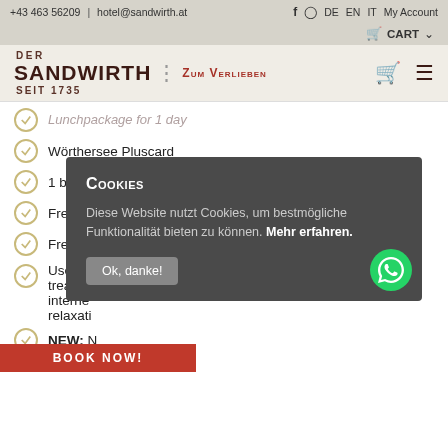+43 463 56209 | hotel@sandwirth.at | f [icon] DE EN IT My Account
CART
DER SANDWIRTH : ZUM VERLIEBEN SEIT 1735
Lunchpackage for 1 day
Wörthersee Pluscard
1 bottle of mineral water in the room
Free LT...
Free SK...
Use of t... treadmi... interne... relaxati...
NEW: N...
Cookies

Diese Website nutzt Cookies, um bestmögliche Funktionalität bieten zu können. Mehr erfahren.

Ok, danke!
BOOK NOW!